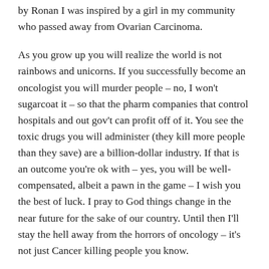by Ronan I was inspired by a girl in my community who passed away from Ovarian Carcinoma.
As you grow up you will realize the world is not rainbows and unicorns. If you successfully become an oncologist you will murder people – no, I won't sugarcoat it – so that the pharm companies that control hospitals and out gov't can profit off of it. You see the toxic drugs you will administer (they kill more people than they save) are a billion-dollar industry. If that is an outcome you're ok with – yes, you will be well-compensated, albeit a pawn in the game – I wish you the best of luck. I pray to God things change in the near future for the sake of our country. Until then I'll stay the hell away from the horrors of oncology – it's not just Cancer killing people you know.